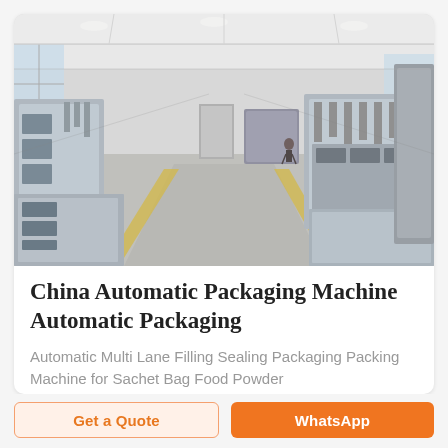[Figure (photo): Interior of a factory or manufacturing facility showing rows of automatic packaging machines on both sides of a wide central aisle, with a white ceiling and natural light from windows on the left side.]
China Automatic Packaging Machine Automatic Packaging
Automatic Multi Lane Filling Sealing Packaging Packing Machine for Sachet Bag Food Powder